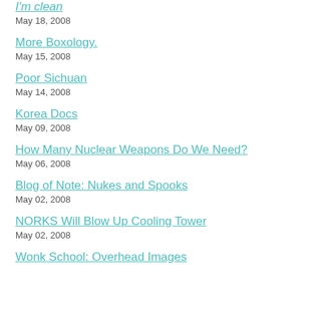I'm clean
May 18, 2008
More Boxology.
May 15, 2008
Poor Sichuan
May 14, 2008
Korea Docs
May 09, 2008
How Many Nuclear Weapons Do We Need?
May 06, 2008
Blog of Note: Nukes and Spooks
May 02, 2008
NORKS Will Blow Up Cooling Tower
May 02, 2008
Wonk School: Overhead Images